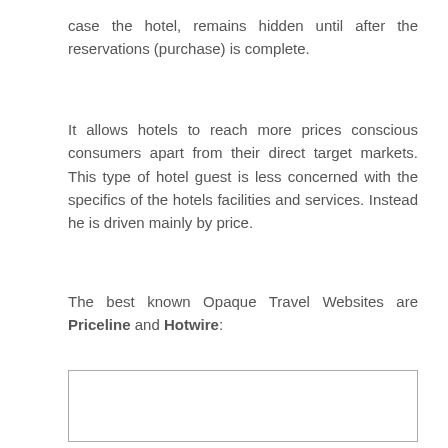case the hotel, remains hidden until after the reservations (purchase) is complete.
It allows hotels to reach more prices conscious consumers apart from their direct target markets. This type of hotel guest is less concerned with the specifics of the hotels facilities and services. Instead he is driven mainly by price.
The best known Opaque Travel Websites are Priceline and Hotwire:
[Figure (other): Empty bordered box placeholder for an image or figure.]